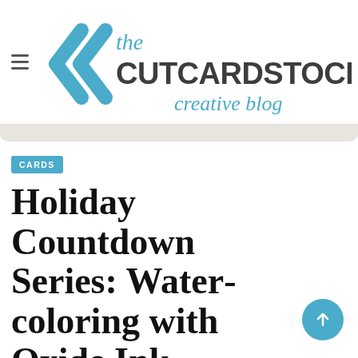the CUTCARDSTOCK creative blog
[Figure (logo): The CutCardStock Creative Blog logo with double left-chevron icon in blue and dark gray/teal lettering]
CARDS
Holiday Countdown Series: Watercoloring with Oxide Ink